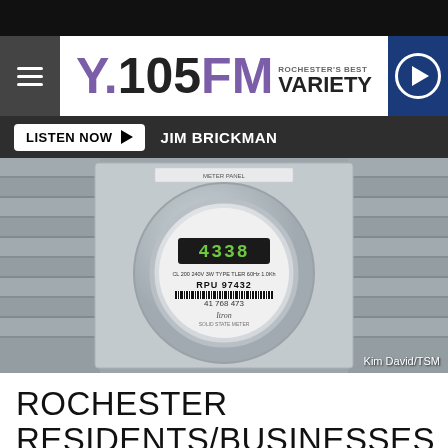Y.105FM Rochester's Best Variety
LISTEN NOW  JIM BRICKMAN
[Figure (photo): Close-up photo of a residential electric utility meter mounted on the side of a house with gray siding. The meter displays '4338' on a digital readout. The meter is labeled 'RPU 97432' and '41 768 475'. Credit: Kim David/TSM]
Kim David/TSM
ROCHESTER RESIDENTS/BUSINESSES FACE